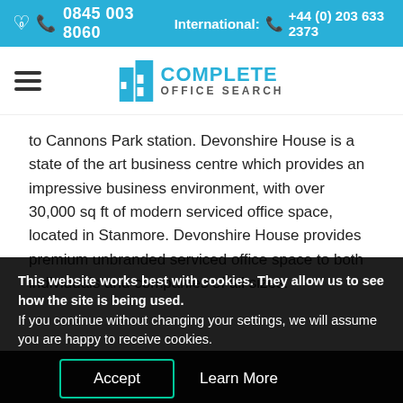0845 003 8060   International: +44 (0) 203 633 2373
[Figure (logo): Complete Office Search logo with blue building icon and blue/grey text]
to Cannons Park station. Devonshire House is a state of the art business centre which provides an impressive business environment, with over 30,000 sq ft of modern serviced office space, located in Stanmore. Devonshire House provides premium unbranded serviced office space to both individuals and companies of all sizes.
This website works best with cookies. They allow us to see how the site is being used.
If you continue without changing your settings, we will assume you are happy to receive cookies.
Accept   Learn More